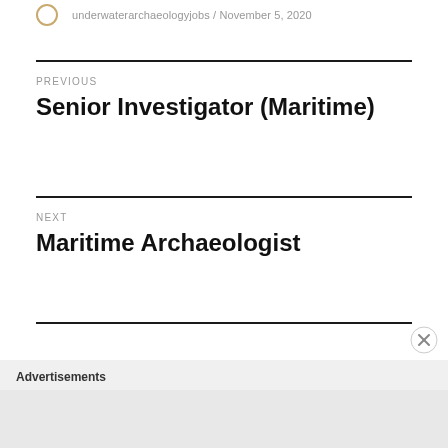underwaterarchaeologyjobs / November 5, 2020
PREVIOUS
Senior Investigator (Maritime)
NEXT
Maritime Archaeologist
Advertisements